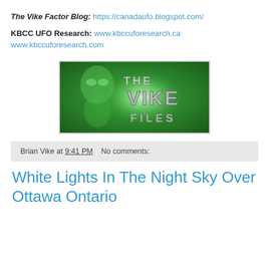The Vike Factor Blog: https://canadaufo.blogspot.com/
KBCC UFO Research: www.kbccuforesearch.ca www.kbccuforesearch.com
[Figure (logo): The Vike Files logo — green background with alien figure silhouette and metallic text reading THE VIKE FILES]
Brian Vike at 9:41 PM   No comments:
White Lights In The Night Sky Over Ottawa Ontario